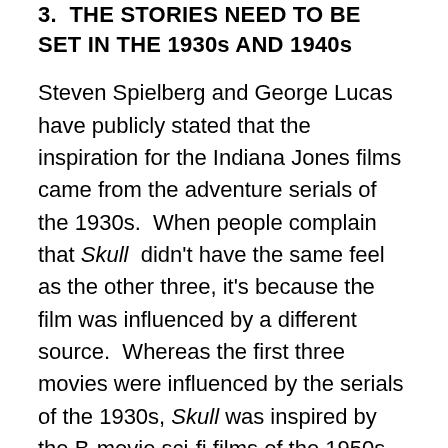3.  THE STORIES NEED TO BE SET IN THE 1930s AND 1940s
Steven Spielberg and George Lucas have publicly stated that the inspiration for the Indiana Jones films came from the adventure serials of the 1930s.  When people complain that Skull  didn't have the same feel as the other three, it's because the film was influenced by a different source.  Whereas the first three movies were influenced by the serials of the 1930s, Skull was inspired by the B-movie sci-fi films of the 1950s.  The various motifs pervade the film: Communism, flying saucers, and teen rebellion to name a few.
Although I understand where Lucas and Spielberg were coming from, in my opinion Indiana Jones works best if set in the two previous decades.  The era seems much less reminiscent of themes in the shadows of WWII...